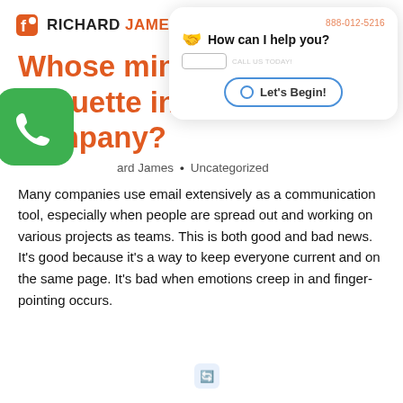RICHARD JAMES
[Figure (screenshot): Chat widget overlay showing 'How can I help you?' with wave emoji, phone number 888-012-5216, and 'Let's Begin!' button]
Whose minding the email etiquette in YOUR company?
[Figure (other): Gray rounded play button]
Richard James • Uncategorized
[Figure (other): Green rounded square phone call button]
Many companies use email extensively as a communication tool, especially when people are spread out and working on various projects as teams. This is both good and bad news. It's good because it's a way to keep everyone current and on the same page. It's bad when emotions creep in and finger-pointing occurs.